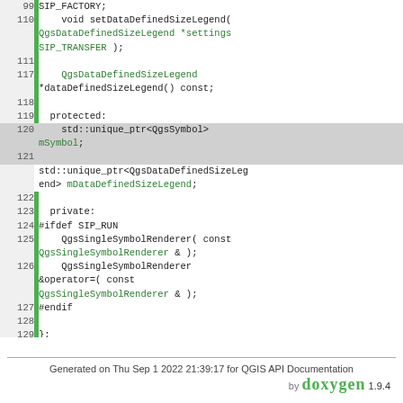[Figure (screenshot): Source code listing showing C++ class definition with line numbers 99-132, including methods setDataDefinedSizeLegend, dataDefinedSizeLegend, protected/private sections, SIP_TRANSFER/SIP_RUN macros, and #endif directive.]
Generated on Thu Sep 1 2022 21:39:17 for QGIS API Documentation
by doxygen 1.9.4